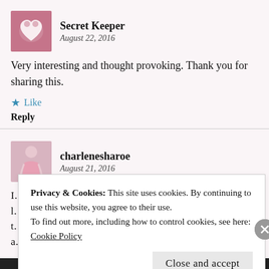[Figure (illustration): Avatar icon with heart design for Secret Keeper user]
Secret Keeper
August 22, 2016
Very interesting and thought provoking. Thank you for sharing this.
★ Like
Reply
[Figure (photo): Avatar photo of charlenesharoe user in pink dress]
charlenesharoe
August 21, 2016
I... la... t... a...
Privacy & Cookies: This site uses cookies. By continuing to use this website, you agree to their use.
To find out more, including how to control cookies, see here:
Cookie Policy
Close and accept